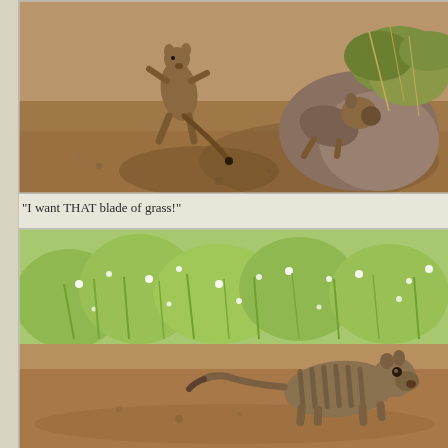[Figure (photo): Close-up photo of mongooses on sandy ground near green shrubs and a rock. One mongoose is standing upright on hind legs, another is crouching near a bush. Sandy/earthy tones.]
"I want THAT blade of grass!"
[Figure (photo): Photo of a banded mongoose on sandy ground with green grass and foliage in the background. The mongoose is looking upward with striped markings visible on its body.]